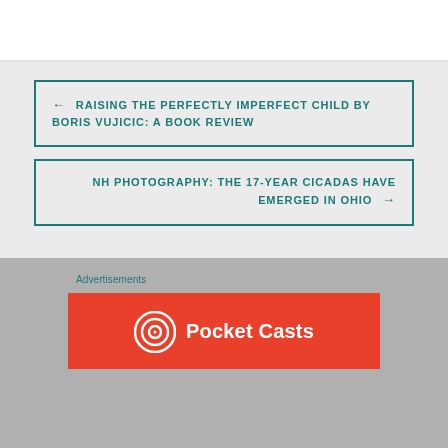← RAISING THE PERFECTLY IMPERFECT CHILD BY BORIS VUJICIC: A BOOK REVIEW
NH PHOTOGRAPHY: THE 17-YEAR CICADAS HAVE EMERGED IN OHIO →
Advertisements
[Figure (logo): Pocket Casts logo and wordmark on a red background]